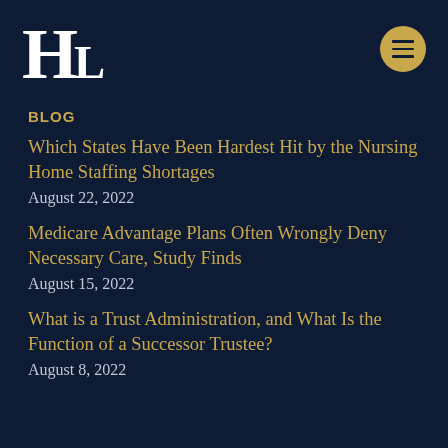HL
BLOG
Which States Have Been Hardest Hit by the Nursing Home Staffing Shortages
August 22, 2022
Medicare Advantage Plans Often Wrongly Deny Necessary Care, Study Finds
August 15, 2022
What is a Trust Administration, and What Is the Function of a Successor Trustee?
August 8, 2022